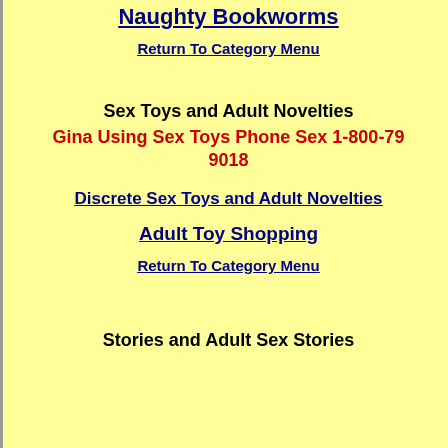Naughty Bookworms
Return To Category Menu
Sex Toys and Adult Novelties
Gina Using Sex Toys Phone Sex 1-800-79 9018
Discrete Sex Toys and Adult Novelties
Adult Toy Shopping
Return To Category Menu
Stories and Adult Sex Stories